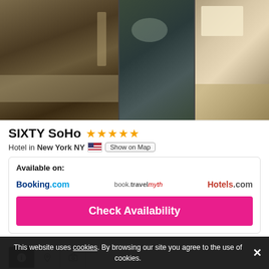[Figure (photo): Three hotel room photos showing bedroom and lounge area of SIXTY SoHo hotel]
SIXTY SoHo ★★★★★
Hotel in New York NY 🇺🇸 Show on Map
Available on:
Booking.com  book.travelmyth  Hotels.com
Check Availability
Info
Luxury Hotel
Categories 1
This website uses cookies. By browsing our site you agree to the use of cookies.